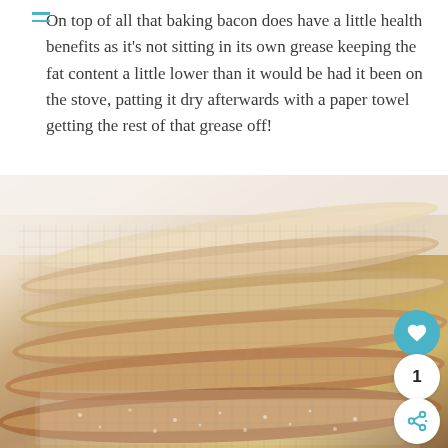On top of all that baking bacon does have a little health benefits as it's not sitting in its own grease keeping the fat content a little lower than it would be had it been on the stove, patting it dry afterwards with a paper towel getting the rest of that grease off!
[Figure (photo): Strips of cooked bacon laid flat on a metal cooling rack, dusted with what appears to be powdered sugar or seasoning, close-up food photography shot.]